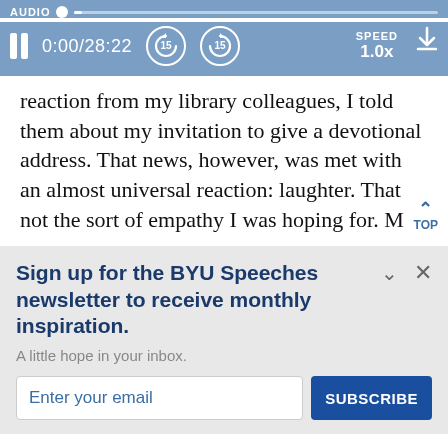[Figure (screenshot): Audio player bar with label AUDIO, progress bar, pause button, time display 0:00/28:22, rewind 15s, forward 15s buttons, speed 1.0x, and download icon]
reaction from my library colleagues, I told them about my invitation to give a devotional address. That news, however, was met with an almost universal reaction: laughter. That was not the sort of empathy I was hoping for. M
Sign up for the BYU Speeches newsletter to receive monthly inspiration.
A little hope in your inbox.
Enter your email
SUBSCRIBE